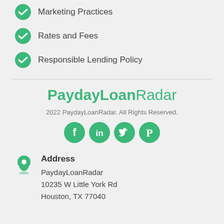Marketing Practices
Rates and Fees
Responsible Lending Policy
PaydayLoanRadar
2022 PaydayLoanRadar. All Rights Reserved.
[Figure (other): Social media icons: Facebook, LinkedIn, Twitter, Pinterest]
Address
PaydayLoanRadar
10235 W Little York Rd
Houston, TX 77040